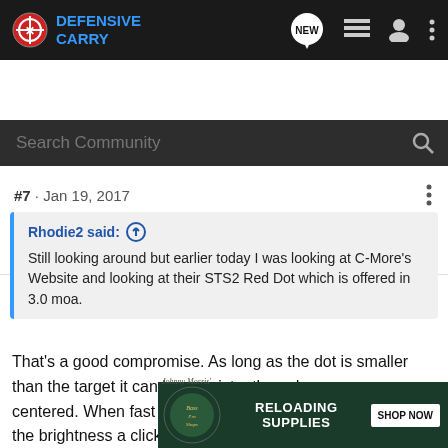Defensive Carry — navigation bar with Search Community
graydude · Registered
Joined Jan 3, 2016 · 5,261 Posts
#7 · Jan 19, 2017
Rhodie2 said: ↑
Still looking around but earlier today I was looking at C-More's Website and looking at their STS2 Red Dot which is offered in 3.0 moa.
That's a good compromise. As long as the dot is smaller than the target it can be consistently and accuracy centered. When fast dot acquisition is desired just turn up the brightness a click or two.
[Figure (other): Bass Pro Shops advertisement — Reloading Supplies, Shop Now button]